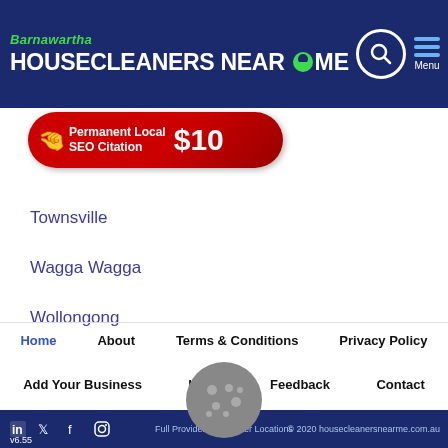Barnawartha HOUSECLEANERS NEAR ME
[Figure (screenshot): Red pill-shaped banner ad: Permanent Local SEO Citation $10]
Townsville
Wagga Wagga
Wollongong
Home | About | Terms & Conditions | Privacy Policy | Add Your Business | Login | Feedback | Contact | Full Provider List | Other Locations | © 2020 housecleanersnearme.com.au | v6.55